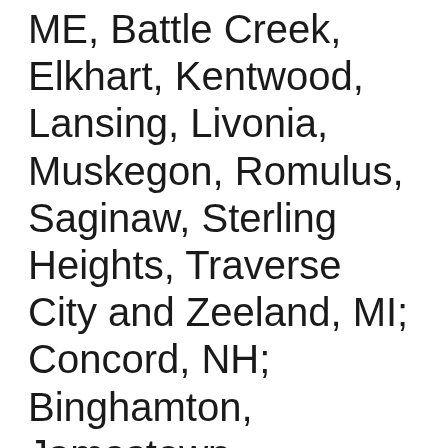ME, Battle Creek, Elkhart, Kentwood, Lansing, Livonia, Muskegon, Romulus, Saginaw, Sterling Heights, Traverse City and Zeeland, MI; Concord, NH; Binghamton, Jamestown, Lancaster, Queens, Rochester, Ronkonkoma, East Syracuse, and Watertown, NY; Columbus, OH; Burlington,